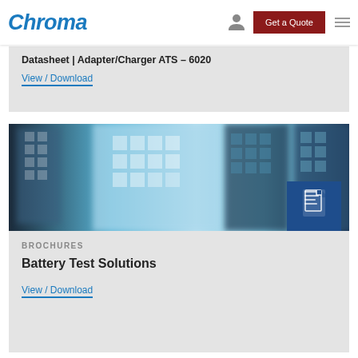Chroma | Get a Quote
Datasheet | Adapter/Charger ATS - 6020
View / Download
[Figure (photo): Blurred blue and teal grid/panel technology background image for Battery Test Solutions brochure]
BROCHURES
Battery Test Solutions
View / Download